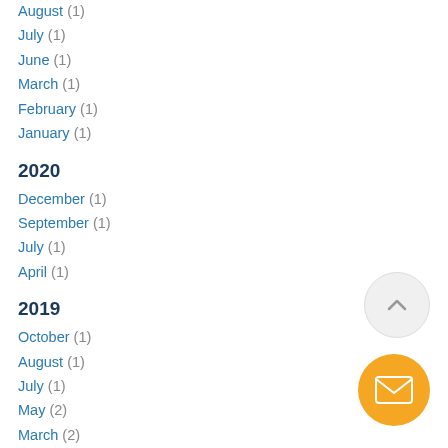August (1)
July (1)
June (1)
March (1)
February (1)
January (1)
2020
December (1)
September (1)
July (1)
April (1)
2019
October (1)
August (1)
July (1)
May (2)
March (2)
February (?)